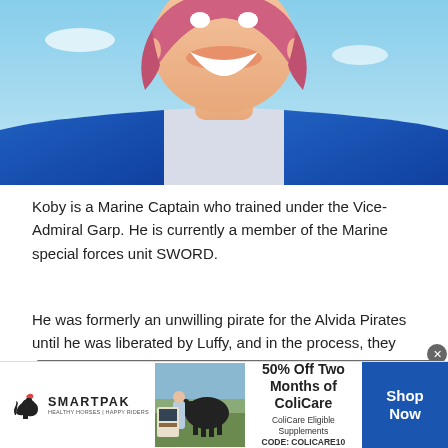[Figure (illustration): Anime character illustration showing the upper body and face of Koby from One Piece, smiling, wearing a blue and white sailor uniform with a zipper, pink hair, against a light blue sky background.]
Koby is a Marine Captain who trained under the Vice-Admiral Garp. He is currently a member of the Marine special forces unit SWORD.
He was formerly an unwilling pirate for the Alvida Pirates until he was liberated by Luffy, and in the process, they become friends.
We shouldn't worry about being able to achieve our dreams, as long as we have the desire to do it!
[Figure (advertisement): SmartPak advertisement banner: 50% Off Two Months of ColiCare, ColiCare Eligible Supplements, CODE: COLICARE10, Shop Now button in blue.]